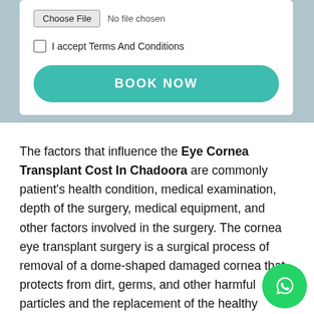[Figure (screenshot): Top section of a web form with a blurred background image showing a medical/surgical scene. A white card contains a file upload row ('Choose File | No file chosen'), a checkbox ('I accept Terms And Conditions'), and a teal 'BOOK NOW' button.]
The factors that influence the Eye Cornea Transplant Cost In Chadoora are commonly patient's health condition, medical examination, depth of the surgery, medical equipment, and other factors involved in the surgery. The cornea eye transplant surgery is a surgical process of removal of a dome-shaped damaged cornea that protects from dirt, germs, and other harmful particles and the replacement of the healthy cornea have a clear vision of the eye. If the damaged or unhealthy cornea is not removed that may affect your